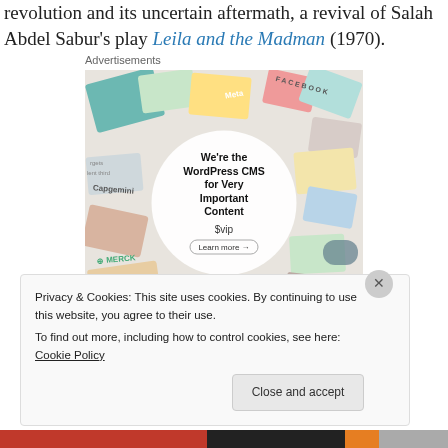revolution  and its uncertain aftermath, a revival of Salah Abdel Sabur's play Leila and the Madman (1970).
Advertisements
[Figure (other): Advertisement banner: 'We're the WordPress CMS for Very Important Content' with WordPress VIP logo and 'Learn more' button, surrounded by colorful brand card tiles including Meta, Facebook, Merck, Capgemini, Salesforce, Hachette logos.]
Privacy & Cookies: This site uses cookies. By continuing to use this website, you agree to their use.
To find out more, including how to control cookies, see here: Cookie Policy
Close and accept